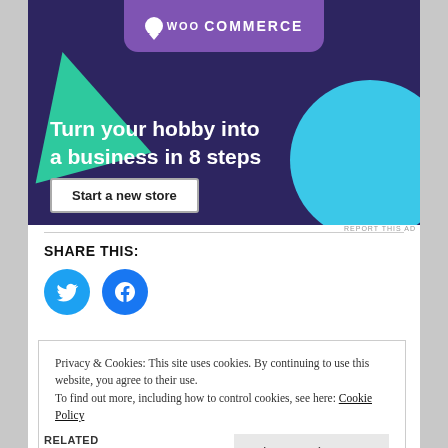[Figure (illustration): WooCommerce advertisement banner with dark purple background, green triangle shape, teal circle, WooCommerce logo at top, headline 'Turn your hobby into a business in 8 steps', and 'Start a new store' button]
REPORT THIS AD
SHARE THIS:
[Figure (logo): Twitter bird icon in white on blue circle]
[Figure (logo): Facebook 'f' icon in white on blue circle]
Privacy & Cookies: This site uses cookies. By continuing to use this website, you agree to their use.
To find out more, including how to control cookies, see here: Cookie Policy
Close and accept
RELATED